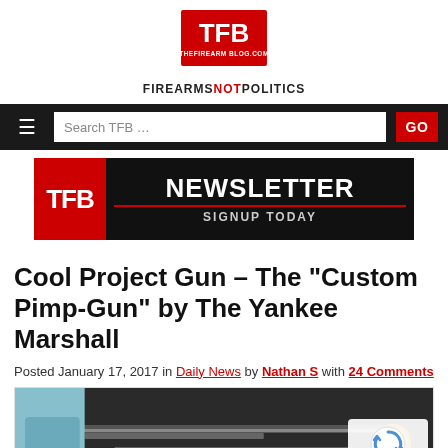[Figure (logo): TFB - The Firearm Blog logo: red square with white TFB letters and THEFIREARM BLOG.COM text, tagline FIREARMS NOT POLITICS]
[Figure (screenshot): Black navigation bar with hamburger menu icon, Search TFB search box, and red GO button]
[Figure (screenshot): TFB Newsletter Signup Today banner - black background with red TFB square, white NEWSLETTER text and SIGNUP TODAY subtext]
Cool Project Gun – The "Custom Pimp-Gun" by The Yankee Marshall
Posted January 17, 2017 in Daily News by Nathan S with 24 Comments
[Figure (photo): Close-up photo of a custom firearm with dark metal components and gold-colored parts, partially visible]